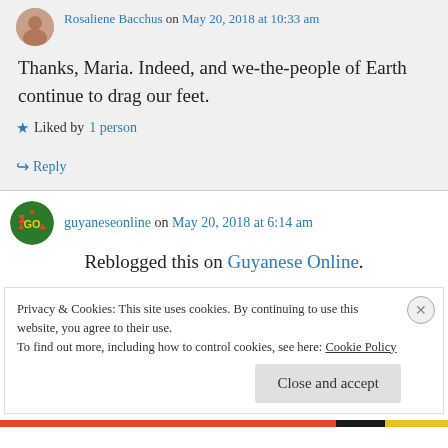Rosaliene Bacchus on May 20, 2018 at 10:33 am
Thanks, Maria. Indeed, and we-the-people of Earth continue to drag our feet.
Liked by 1 person
Reply
guyaneseonline on May 20, 2018 at 6:14 am
Reblogged this on Guyanese Online.
Privacy & Cookies: This site uses cookies. By continuing to use this website, you agree to their use.
To find out more, including how to control cookies, see here: Cookie Policy
Close and accept